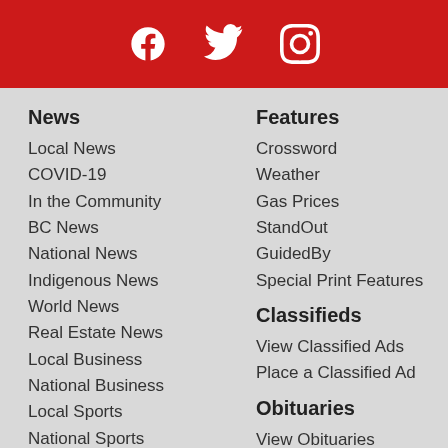[Figure (other): Red header bar with Facebook, Twitter, and Instagram social media icons in white]
News
Local News
COVID-19
In the Community
BC News
National News
Indigenous News
World News
Real Estate News
Local Business
National Business
Local Sports
National Sports
Digital Edition
Features
Crossword
Weather
Gas Prices
StandOut
GuidedBy
Special Print Features
Classifieds
View Classified Ads
Place a Classified Ad
Obituaries
View Obituaries